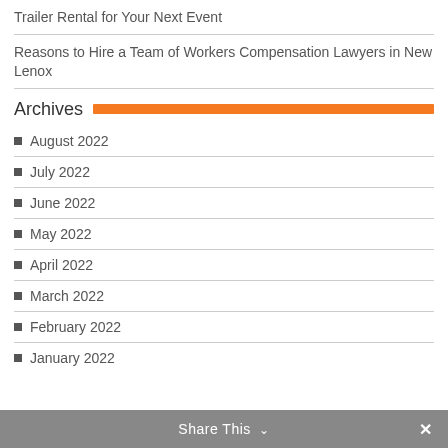Trailer Rental for Your Next Event
Reasons to Hire a Team of Workers Compensation Lawyers in New Lenox
Archives
August 2022
July 2022
June 2022
May 2022
April 2022
March 2022
February 2022
January 2022
Share This ∨  ×